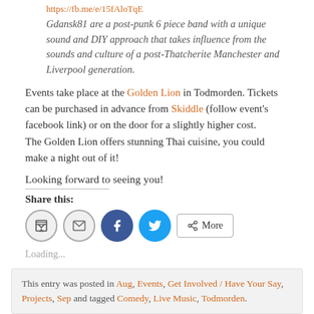https://fb.me/e/15fAloTqE (link in orange)
Gdansk81 are a post-punk 6 piece band with a unique sound and DIY approach that takes influence from the sounds and culture of a post-Thatcherite Manchester and Liverpool generation.
Events take place at the Golden Lion in Todmorden. Tickets can be purchased in advance from Skiddle (follow event's facebook link) or on the door for a slightly higher cost. The Golden Lion offers stunning Thai cuisine, you could make a night out of it!
Looking forward to seeing you!
Share this:
Loading...
This entry was posted in Aug, Events, Get Involved / Have Your Say, Projects, Sep and tagged Comedy, Live Music, Todmorden.